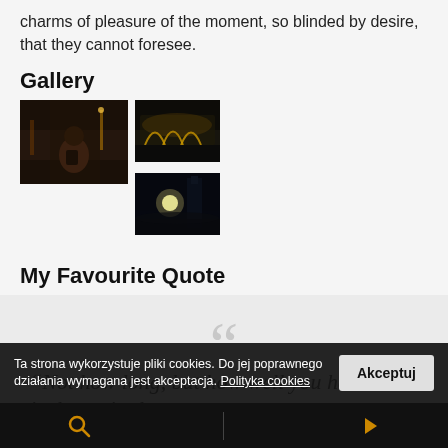charms of pleasure of the moment, so blinded by desire, that they cannot foresee.
Gallery
[Figure (photo): Night street scene with person wearing backpack]
[Figure (photo): Night scene of illuminated historic building with crowd]
[Figure (photo): Night scene with bright lights and crowd near tower]
My Favourite Quote
“Not how long, but how well you have lived is the main th
Ta strona wykorzystuje pliki cookies. Do jej poprawnego działania wymagana jest akceptacja. Polityka cookies
Akceptuj